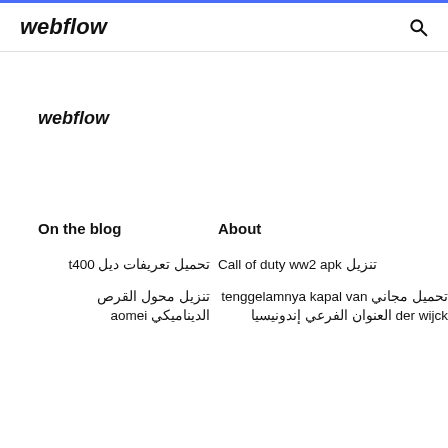webflow
webflow
On the blog
About
تحميل تعريفات ديل t400
تنزيل محول القرص الديناميكي aomei
Call of duty ww2 apk تنزيل
تحميل مجاني tenggelamnya kapal van der wijck العنوان الفرعي إندونيسيا